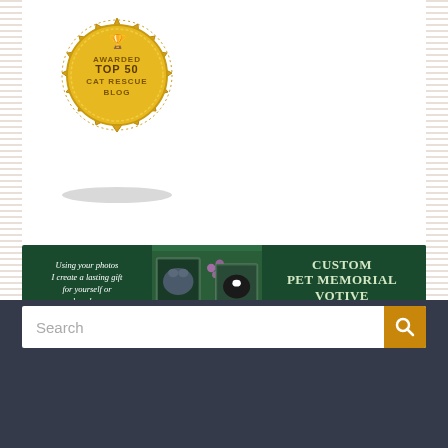[Figure (illustration): Gold seal/badge award graphic with text 'AWARDED TOP 50 CAT RESCUE BLOG' and a trophy icon at the top]
[Figure (infographic): Advertisement banner with dark green background. Left side italic text: 'Using your photos I create a lasting gift for yourself or a loved one.' Center shows photos of cats/pets with flowers. Right side text: 'CUSTOM PET MEMORIAL VOTIVE' with website www.PortraitsOfAnimals.net]
[Figure (screenshot): Dark navy/charcoal footer section containing a search bar with placeholder text 'Search' and an amber/gold search button with magnifying glass icon]